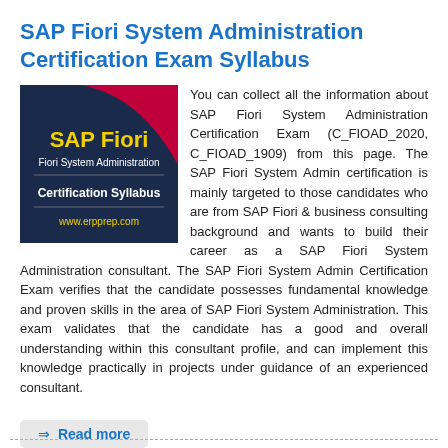SAP Fiori System Administration Certification Exam Syllabus
[Figure (logo): SAP Fiori Fiori System Administration Certification Syllabus logo image from www.erpprep.com, dark blue background with red arc, yellow 'SAP Fiori' title, white subtitle and certification syllabus text]
You can collect all the information about SAP Fiori System Administration Certification Exam (C_FIOAD_2020, C_FIOAD_1909) from this page. The SAP Fiori System Admin certification is mainly targeted to those candidates who are from SAP Fiori & business consulting background and wants to build their career as a SAP Fiori System Administration consultant. The SAP Fiori System Admin Certification Exam verifies that the candidate possesses fundamental knowledge and proven skills in the area of SAP Fiori System Administration. This exam validates that the candidate has a good and overall understanding within this consultant profile, and can implement this knowledge practically in projects under guidance of an experienced consultant.
⇒ Read more